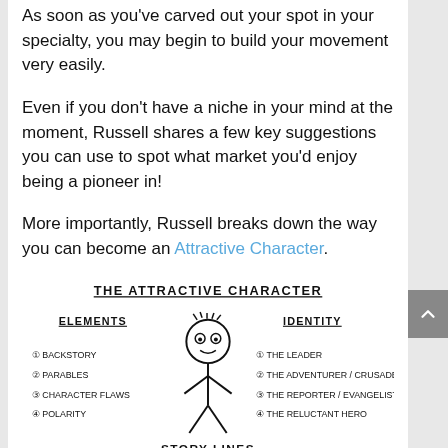As soon as you've carved out your spot in your specialty, you may begin to build your movement very easily.
Even if you don't have a niche in your mind at the moment, Russell shares a few key suggestions you can use to spot what market you'd enjoy being a pioneer in!
More importantly, Russell breaks down the way you can become an Attractive Character.
[Figure (illustration): Hand-drawn diagram titled 'THE ATTRACTIVE CHARACTER' showing a stick figure in the center. Left side labeled 'ELEMENTS' with: 1 BACKSTORY, 2 PARABLES, 3 CHARACTER FLAWS, 4 POLARITY. Right side labeled 'IDENTITY' with: 1 THE LEADER, 2 THE ADVENTURER / CRUSADER, 3 THE REPORTER / EVANGELIST, 4 THE RELUCTANT HERO. Bottom shows 'STORY LINES' with a horizontal line beneath it.]